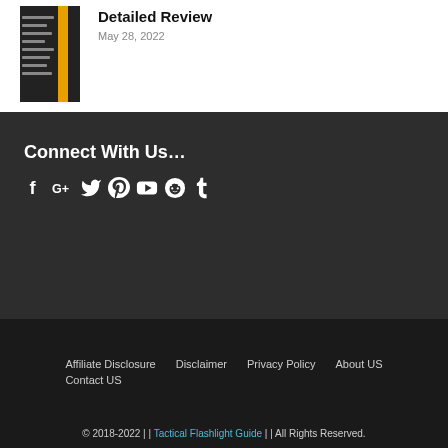[Figure (photo): Thumbnail image of a flashlight product in its packaging, dark background with an orange stripe]
Detailed Review
May 28, 2022
Connect With Us…
[Figure (infographic): Social media icons: Facebook, Google+, Twitter, Pinterest, YouTube, Reddit, Tumblr]
Affiliate Disclosure    Disclaimer    Privacy Policy    About US    Contact US
© 2018-2022 | | Tactical Flashlight Guide | | All Rights Reserved.